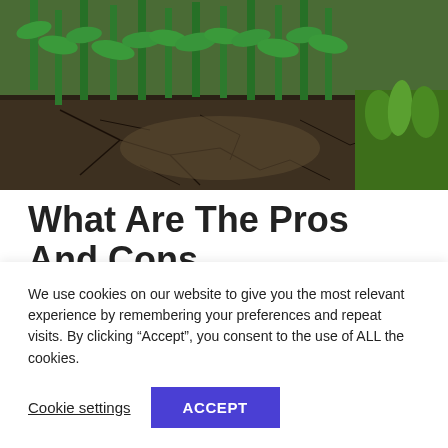[Figure (photo): Photograph of cracked dry soil in a cornfield, showing drought-stressed earth with corn/maize plants in the background and some green grass on the right side.]
What Are The Pros And Cons Of Living Next To A
We use cookies on our website to give you the most relevant experience by remembering your preferences and repeat visits. By clicking “Accept”, you consent to the use of ALL the cookies.
Cookie settings
ACCEPT